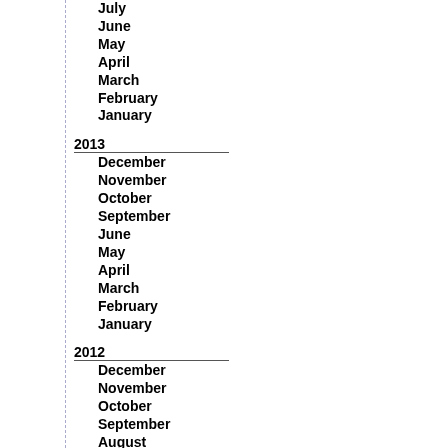July
June
May
April
March
February
January
2013
December
November
October
September
June
May
April
March
February
January
2012
December
November
October
September
August
July
June
March 2016
| S | M | T | W | T | F | S |
| --- | --- | --- | --- | --- | --- | --- |